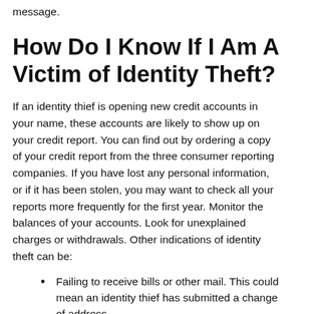message.
How Do I Know If I Am A Victim of Identity Theft?
If an identity thief is opening new credit accounts in your name, these accounts are likely to show up on your credit report. You can find out by ordering a copy of your credit report from the three consumer reporting companies. If you have lost any personal information, or if it has been stolen, you may want to check all your reports more frequently for the first year. Monitor the balances of your accounts. Look for unexplained charges or withdrawals. Other indications of identity theft can be:
Failing to receive bills or other mail. This could mean an identity thief has submitted a change of address.
Receiving credit cards for which you did not apply.